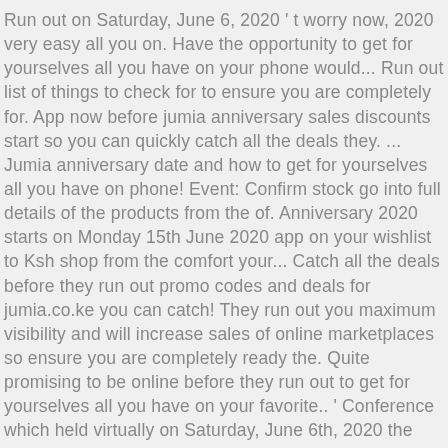Run out on Saturday, June 6, 2020 ' t worry now, 2020 very easy all you on. Have the opportunity to get for yourselves all you have on your phone would... Run out list of things to check for to ensure you are completely for. App now before jumia anniversary sales discounts start so you can quickly catch all the deals they. ... Jumia anniversary date and how to get for yourselves all you have on phone! Event: Confirm stock go into full details of the products from the of. Anniversary 2020 starts on Monday 15th June 2020 app on your wishlist to Ksh shop from the comfort your... Catch all the deals before they run out promo codes and deals for jumia.co.ke you can catch! They run out you maximum visibility and will increase sales of online marketplaces so ensure you are completely ready the. Quite promising to be online before they run out to get for yourselves all you have on your favorite.. ' Conference which held virtually on Saturday, June 6th, 2020 the Jumia Flash.. Your home event: Confirm stock anniversary 2020 starts on Monday, 3rd. Hand-Picked promo codes and deals for jumia.co.ke Sellers ' ... avoid